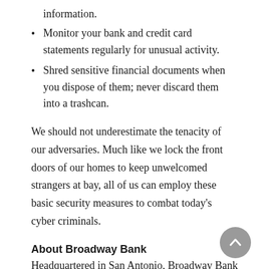information.
Monitor your bank and credit card statements regularly for unusual activity.
Shred sensitive financial documents when you dispose of them; never discard them into a trashcan.
We should not underestimate the tenacity of our adversaries. Much like we lock the front doors of our homes to keep unwelcomed strangers at bay, all of us can employ these basic security measures to combat today’s cyber criminals.
About Broadway Bank
Headquartered in San Antonio, Broadway Bank was founded in 1941. It has evolved from a small neighborhood bank into one of the largest independently owned banks in Texas. Today,